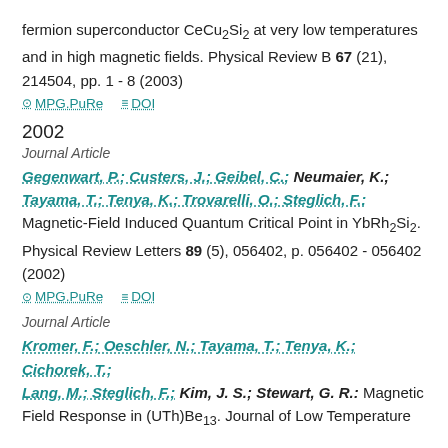fermion superconductor CeCu2Si2 at very low temperatures and in high magnetic fields. Physical Review B 67 (21), 214504, pp. 1 - 8 (2003)
MPG.PuRe   DOI
2002
Journal Article
Gegenwart, P.; Custers, J.; Geibel, C.; Neumaier, K.; Tayama, T.; Tenya, K.; Trovarelli, O.; Steglich, F.: Magnetic-Field Induced Quantum Critical Point in YbRh2Si2. Physical Review Letters 89 (5), 056402, p. 056402 - 056402 (2002)
MPG.PuRe   DOI
Journal Article
Kromer, F.; Oeschler, N.; Tayama, T.; Tenya, K.; Cichorek, T.; Lang, M.; Steglich, F.; Kim, J. S.; Stewart, G. R.: Magnetic Field Response in (UTh)Be13. Journal of Low Temperature